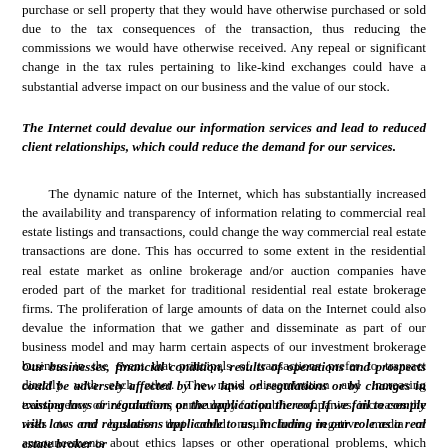purchase or sell property that they would have otherwise purchased or sold due to the tax consequences of the transaction, thus reducing the commissions we would have otherwise received. Any repeal or significant change in the tax rules pertaining to like-kind exchanges could have a substantial adverse impact on our business and the value of our stock.
The Internet could devalue our information services and lead to reduced client relationships, which could reduce the demand for our services.
The dynamic nature of the Internet, which has substantially increased the availability and transparency of information relating to commercial real estate listings and transactions, could change the way commercial real estate transactions are done. This has occurred to some extent in the residential real estate market as online brokerage and/or auction companies have eroded part of the market for traditional residential real estate brokerage firms. The proliferation of large amounts of data on the Internet could also devalue the information that we gather and disseminate as part of our business model and may harm certain aspects of our investment brokerage business in the event that principals of transactions prefer to transact directly with each other. The rapid dissemination and increasing transparency of information, particularly for public companies, increases the risks to our business that could result from negative media or announcements about ethics lapses or other operational problems, which could lead clients to terminate or reduce their relationships with us.
Our businesses, financial condition, results of operations and prospects could be adversely affected by new laws or regulations or by changes in existing laws or regulations or the application thereof. If we fail to comply with laws and regulations applicable to us, including in our role as a real estate broker or